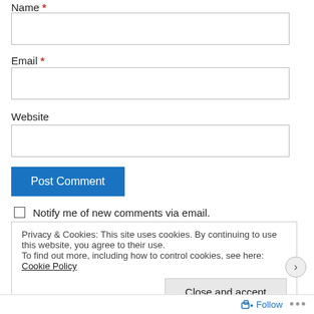Name *
Email *
Website
Post Comment
Notify me of new comments via email.
Privacy & Cookies: This site uses cookies. By continuing to use this website, you agree to their use. To find out more, including how to control cookies, see here: Cookie Policy
Close and accept
Follow